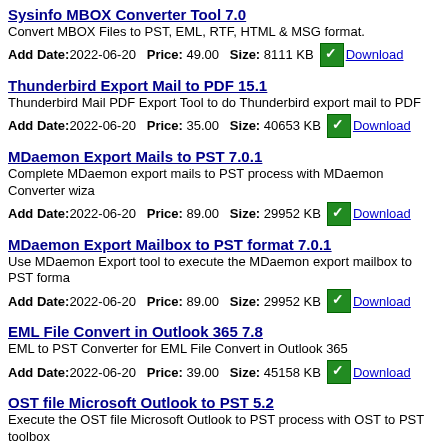Sysinfo MBOX Converter Tool 7.0 - Convert MBOX Files to PST, EML, RTF, HTML & MSG format. Add Date:2022-06-20 Price: 49.00 Size: 8111 KB Download
Thunderbird Export Mail to PDF 15.1 - Thunderbird Mail PDF Export Tool to do Thunderbird export mail to PDF. Add Date:2022-06-20 Price: 35.00 Size: 40653 KB Download
MDaemon Export Mails to PST 7.0.1 - Complete MDaemon export mails to PST process with MDaemon Converter wiza. Add Date:2022-06-20 Price: 89.00 Size: 29952 KB Download
MDaemon Export Mailbox to PST format 7.0.1 - Use MDaemon Export tool to execute the MDaemon export mailbox to PST forma. Add Date:2022-06-20 Price: 89.00 Size: 29952 KB Download
EML File Convert in Outlook 365 7.8 - EML to PST Converter for EML File Convert in Outlook 365. Add Date:2022-06-20 Price: 39.00 Size: 45158 KB Download
OST file Microsoft Outlook to PST 5.2 - Execute the OST file Microsoft Outlook to PST process with OST to PST toolbox. Add Date:2022-06-20 Price: 29.00 Size: 3317 KB Download
OST Exchange 2010 to Outlook PST 5.2 - Execute OST exchange 2010 to Outlook PST with OST to PST wizard. Add Date:2022-06-20 Price: 29.00 Size: 3317 KB Download
eM Client Data Export to PST 4.2.1 - eM Client to Outlook Exporter for eM Client data export to PST format